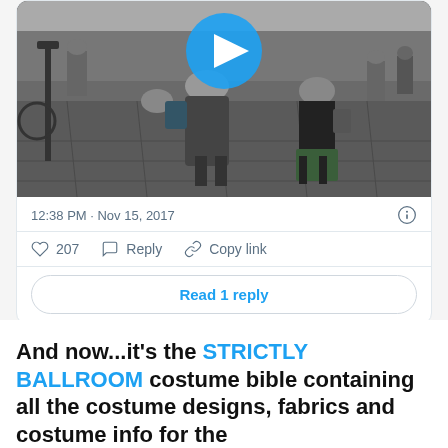[Figure (screenshot): Street scene with people walking, overlaid with a blue play button indicating a video. Shows two main figures walking on a cobblestone/paved street with background crowd.]
12:38 PM · Nov 15, 2017
207  Reply  Copy link
Read 1 reply
And now...it's the STRICTLY BALLROOM costume bible containing all the costume designs, fabrics and costume info for the